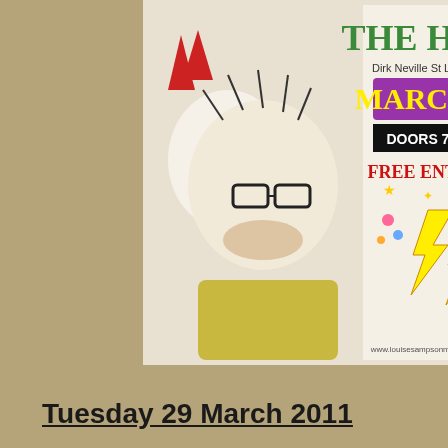[Figure (illustration): Concert/event poster for 'The Hop' at Dirk Neville St Ldoas, March 27, Doors 7:30, Free Entry! Featuring illustrated character with devil horns and glasses, yellow lightning bolts, and colorful design.]
Tuesday 29 March 2011
The Green Dragon, London  (setlist)
First attempt at THE ROCK SET of 'Din
Tuesday 5 April 2011